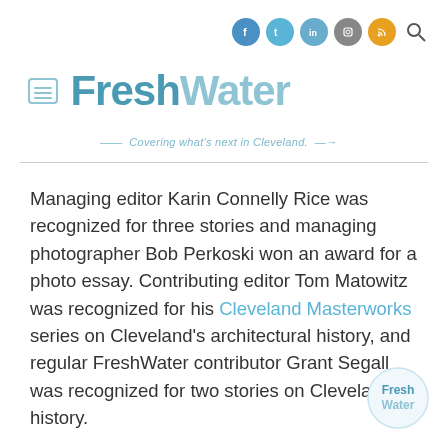[Figure (logo): FreshWater Cleveland logo with hamburger menu icon, tagline 'Covering what's next in Cleveland.' and social media icons (Facebook, Twitter, LinkedIn, Instagram, RSS, Search)]
Managing editor Karin Connelly Rice was recognized for three stories and managing photographer Bob Perkoski won an award for a photo essay. Contributing editor Tom Matowitz was recognized for his Cleveland Masterworks series on Cleveland's architectural history, and regular FreshWater contributor Grant Segall was recognized for two stories on Cleveland history.
[Figure (logo): FreshWater Cleveland circular watermark logo in bottom right corner]